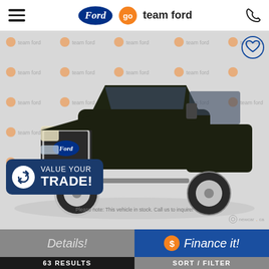Ford / Go Team Ford dealership mobile website header with hamburger menu and phone icon
[Figure (photo): Black Ford F-150 pickup truck photographed in front of a Go Team Ford branded backdrop with repeating orange and white team ford logos. A blue heart/wishlist icon appears in the top-right corner of the image.]
[Figure (infographic): Dark blue 'VALUE YOUR TRADE!' call-to-action banner with circular arrows icon and orange accent, overlaid on lower-left of vehicle image.]
Please note: This vehicle in stock. Call us to inquire!
Details!
Finance it!
63 RESULTS    SORT / FILTER